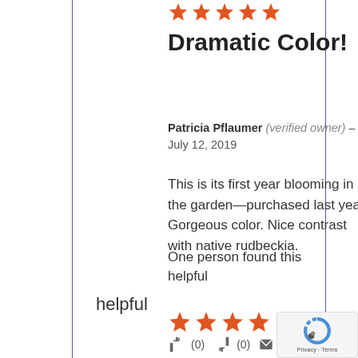[Figure (other): 5 orange star rating icons]
Dramatic Color!
Patricia Pflaumer (verified owner) – July 12, 2019
This is its first year blooming in the garden—purchased last year. Gorgeous color. Nice contrast with native rudbeckia.
👍 (0)  👎 (0)  ✉ Watch  🚩
One person found this helpful
[Figure (other): 4 orange stars and 1 grey star rating (4 out of 5)]